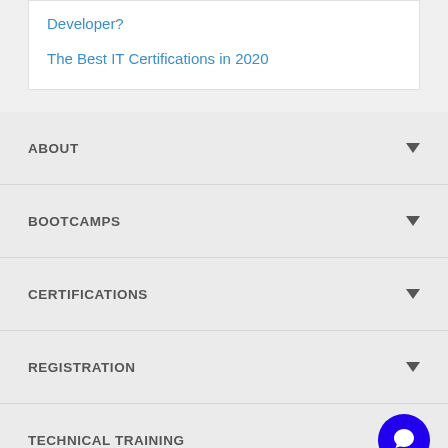Developer?
The Best IT Certifications in 2020
ABOUT
BOOTCAMPS
CERTIFICATIONS
REGISTRATION
TECHNICAL TRAINING